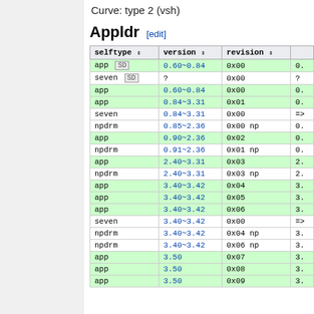Curve: type 2 (vsh)
Appldr [edit]
| selftype | version | revision |  |
| --- | --- | --- | --- |
| app SD | 0.60~0.84 | 0x00 | 0. |
| seven SD | ? | 0x00 | ? |
| app | 0.60~0.84 | 0x00 | 0. |
| app | 0.84~3.31 | 0x01 | 0. |
| seven | 0.84~3.31 | 0x00 | => |
| npdrm | 0.85~2.36 | 0x00 np | 0. |
| app | 0.90~2.36 | 0x02 | 0. |
| npdrm | 0.91~2.36 | 0x01 np | 0. |
| app | 2.40~3.31 | 0x03 | 2. |
| npdrm | 2.40~3.31 | 0x03 np | 2. |
| app | 3.40~3.42 | 0x04 | 3. |
| app | 3.40~3.42 | 0x05 | 3. |
| app | 3.40~3.42 | 0x06 | 3. |
| seven | 3.40~3.42 | 0x00 | => |
| npdrm | 3.40~3.42 | 0x04 np | 3. |
| npdrm | 3.40~3.42 | 0x06 np | 3. |
| app | 3.50 | 0x07 | 3. |
| app | 3.50 | 0x08 | 3. |
| app | 3.50 | 0x09 | 3. |